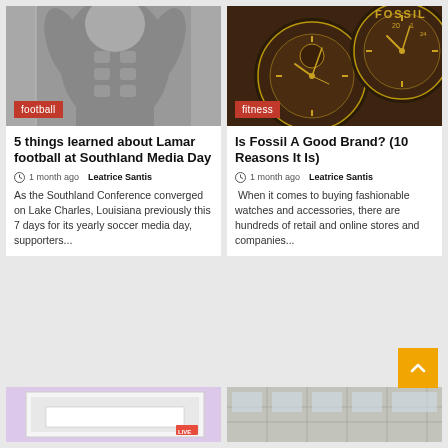[Figure (photo): Black and white photo of a muscular shirtless athlete with tattoos, gym background]
football
5 things learned about Lamar football at Southland Media Day
1 month ago  Leatrice Santis
As the Southland Conference converged on Lake Charles, Louisiana previously this 7 days for its yearly soccer media day, supporters...
[Figure (photo): Close-up photo of Fossil brand watches with brown dial, gold hands, multiple sub-dials]
fitness
Is Fossil A Good Brand? (10 Reasons It Is)
1 month ago  Leatrice Santis
When it comes to buying fashionable watches and accessories, there are hundreds of retail and online stores and companies...
[Figure (photo): Bottom-left partial image: pink/purple background with a TV or monitor showing LIVE label]
[Figure (photo): Bottom-right partial image: interior architectural photo, glass and steel structure]